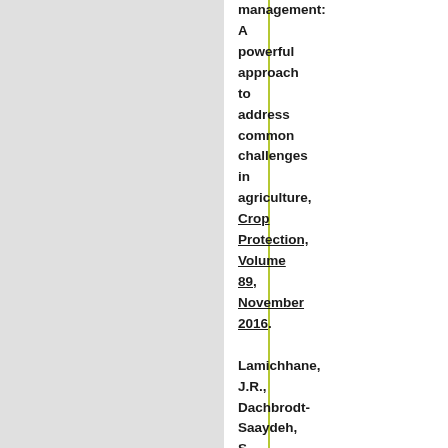management: A powerful approach to address common challenges in agriculture, Crop Protection, Volume 89, November 2016. Lamichhane, J.R., Dachbrodt-Saaydeh, S., Kudsk, P.,